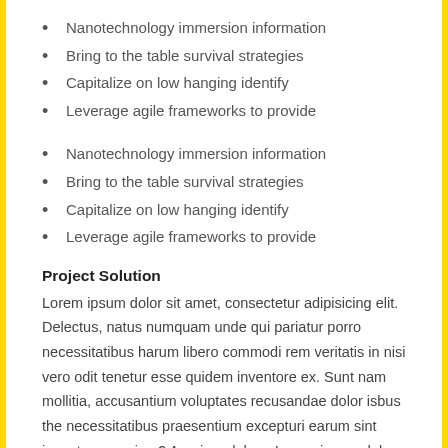Nanotechnology immersion information
Bring to the table survival strategies
Capitalize on low hanging identify
Leverage agile frameworks to provide
Nanotechnology immersion information
Bring to the table survival strategies
Capitalize on low hanging identify
Leverage agile frameworks to provide
Project Solution
Lorem ipsum dolor sit amet, consectetur adipisicing elit. Delectus, natus numquam unde qui pariatur porro necessitatibus harum libero commodi rem veritatis in nisi vero odit tenetur esse quidem inventore ex. Sunt nam mollitia, accusantium voluptates recusandae dolor isbus the necessitatibus praesentium excepturi earum sint inventore aperiam? Aperiam doloresLorem ipsum dolor sit amet, consectetur adipisicing elit. Delectus, natus numquam